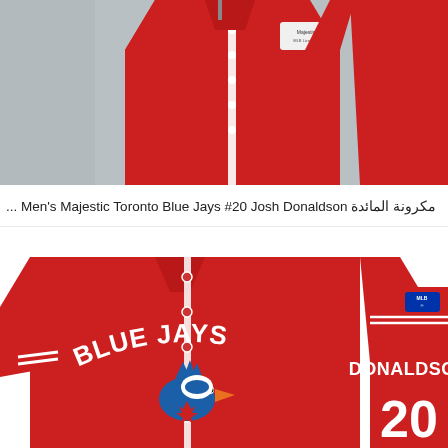[Figure (photo): Front and back view of a red Toronto Blue Jays Majestic baseball jersey displayed on hangers against a grey background. The jersey has white buttons and a white stripe down the front.]
مكرونة المائدة Men's Majestic Toronto Blue Jays #20 Josh Donaldson ...
[Figure (photo): Front and back view of a red Toronto Blue Jays Majestic baseball jersey. The front shows 'BLUE JAYS' text with the Blue Jays logo (blue jay bird with maple leaf) and a Canadian flag patch on the sleeve. The back shows 'DONALDSON' and the number 20.]